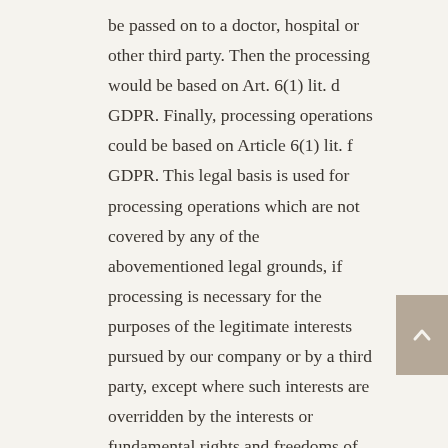be passed on to a doctor, hospital or other third party. Then the processing would be based on Art. 6(1) lit. d GDPR. Finally, processing operations could be based on Article 6(1) lit. f GDPR. This legal basis is used for processing operations which are not covered by any of the abovementioned legal grounds, if processing is necessary for the purposes of the legitimate interests pursued by our company or by a third party, except where such interests are overridden by the interests or fundamental rights and freedoms of the data subject which require protection of personal data. Such processing operations are particularly permissible because they have been specifically mentioned by the European legislator. He considered that a legitimate interest could be assumed if the data subject is a client of the controller (Recital 47 Sentence 2 GDPR).